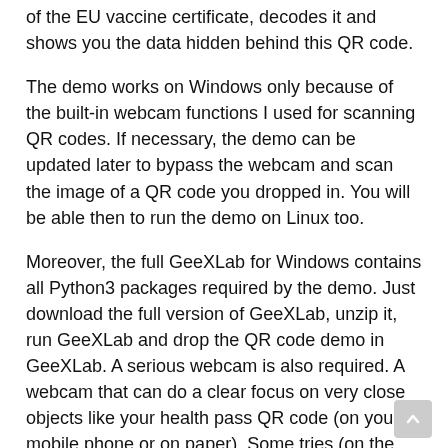of the EU vaccine certificate, decodes it and shows you the data hidden behind this QR code.
The demo works on Windows only because of the built-in webcam functions I used for scanning QR codes. If necessary, the demo can be updated later to bypass the webcam and scan the image of a QR code you dropped in. You will be able then to run the demo on Linux too.
Moreover, the full GeeXLab for Windows contains all Python3 packages required by the demo. Just download the full version of GeeXLab, unzip it, run GeeXLab and drop the QR code demo in GeeXLab. A serious webcam is also required. A webcam that can do a clear focus on very close objects like your health pass QR code (on your mobile phone or on paper). Some tries (on the button SCAN a QR Code) will be likely necessary to read the QR code.
The core of the QR code decoding step has been adapted from this source and can be summed up to this:
– the QR code is a string starting with HC1: